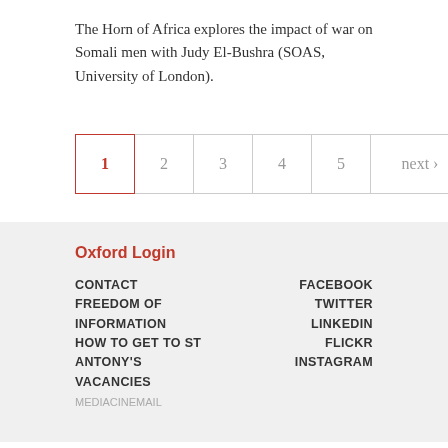The Horn of Africa explores the impact of war on Somali men with Judy El-Bushra (SOAS, University of London).
1 2 3 4 5 next › last »
Oxford Login
CONTACT
FREEDOM OF INFORMATION
HOW TO GET TO ST ANTONY'S
VACANCIES
FACEBOOK
TWITTER
LINKEDIN
FLICKR
INSTAGRAM